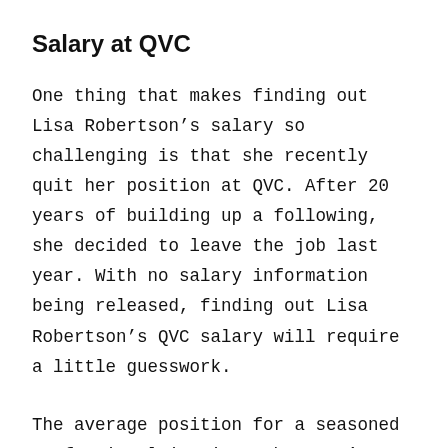Salary at QVC
One thing that makes finding out Lisa Robertson’s salary so challenging is that she recently quit her position at QVC. After 20 years of building up a following, she decided to leave the job last year. With no salary information being released, finding out Lisa Robertson’s QVC salary will require a little guesswork.
The average position for a seasoned professional in Lisa Robertson’s position at QVC is around $100,000. With that in mind, it makes sense that Lisa Robertson earned